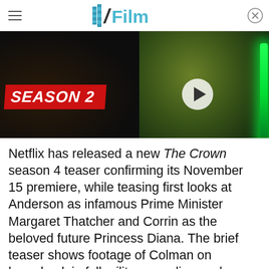/Film
[Figure (screenshot): Two video thumbnails side by side: left shows The Crown Season 2 promotional image with a person on horseback in military regalia; right shows Yoda from Star Wars with a green lightsaber and a play button overlay]
Netflix has released a new The Crown season 4 teaser confirming its November 15 premiere, while teasing first looks at Anderson as infamous Prime Minister Margaret Thatcher and Corrin as the beloved future Princess Diana. The brief teaser shows footage of Colman on horseback in full military regalia, as she narrates, "Something as important as the monarchy simply cannot be allowed to fail." The footage shows teases of Anderson's Thatcher, looking appropriately steely in